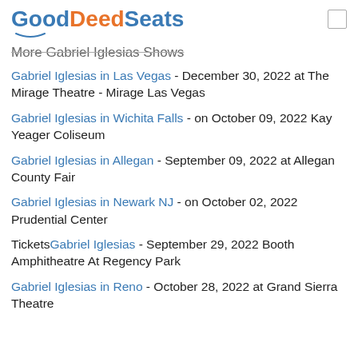GoodDeedSeats
More Gabriel Iglesias Shows
Gabriel Iglesias in Las Vegas - December 30, 2022 at The Mirage Theatre - Mirage Las Vegas
Gabriel Iglesias in Wichita Falls - on October 09, 2022 Kay Yeager Coliseum
Gabriel Iglesias in Allegan - September 09, 2022 at Allegan County Fair
Gabriel Iglesias in Newark NJ - on October 02, 2022 Prudential Center
TicketsGabriel Iglesias - September 29, 2022 Booth Amphitheatre At Regency Park
Gabriel Iglesias in Reno - October 28, 2022 at Grand Sierra Theatre